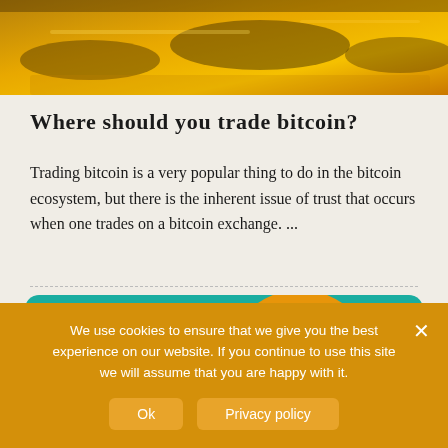[Figure (photo): Close-up photo of bitcoin-related imagery with orange/yellow golden tones, showing physical coins or financial items]
Where should you trade bitcoin?
Trading bitcoin is a very popular thing to do in the bitcoin ecosystem, but there is the inherent issue of trust that occurs when one trades on a bitcoin exchange. ...
[Figure (illustration): Teal/green background card with a large orange Bitcoin logo circle showing the Bitcoin symbol in white, and a partial dark silhouette figure on the left]
We use cookies to ensure that we give you the best experience on our website. If you continue to use this site we will assume that you are happy with it.